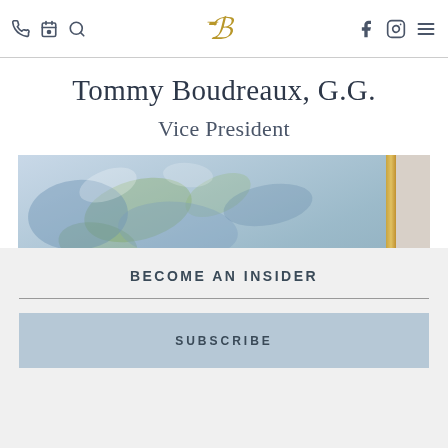Navigation bar with phone, calendar, search icons, ornamental B logo, Facebook, Instagram, and menu icons
Tommy Boudreaux, G.G.
Vice President
[Figure (photo): Partial photo of a person with brown hair in front of an abstract blue-green painting with a gold frame visible on the right side]
BECOME AN INSIDER
SUBSCRIBE